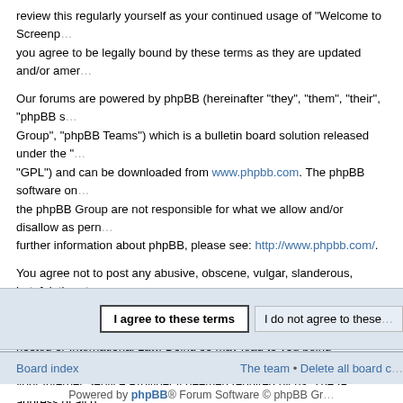review this regularly yourself as your continued usage of "Welcome to Screenplays-Online.de" you agree to be legally bound by these terms as they are updated and/or amended.
Our forums are powered by phpBB (hereinafter "they", "them", "their", "phpBB software", "www.phpbb.com", "phpBB Group", "phpBB Teams") which is a bulletin board solution released under the "General Public License" ("GPL") and can be downloaded from www.phpbb.com. The phpBB software only facilitates internet based discussions, the phpBB Group are not responsible for what we allow and/or disallow as permissible content and/or conduct. For further information about phpBB, please see: http://www.phpbb.com/.
You agree not to post any abusive, obscene, vulgar, slanderous, hateful, threatening, sexually-orientated or any other material that may violate any laws be it of your country, the country where "Welcome to Screenplays-Online.de" is hosted or International Law. Doing so may lead to you being immediately and permanently banned, with notification of your Internet Service Provider if deemed required by us. The IP address of all posts are recorded to aid in enforcing these conditions. You agree that "Welcome to Screenplays-Online.de" have the right to remove, edit, move or close any topic at any time should we see fit. As a user you agree to any information you have entered to being stored in a database. While this information will not be disclosed to any third party without your consent, neither "Welcome to Screenplays-Online.de" nor phpBB shall be held responsible for any hacking attempt that may lead to the data being compromised.
I agree to these terms | I do not agree to these terms
Board index • The team • Delete all board cookies • All times are UTC
Powered by phpBB® Forum Software © phpBB Group